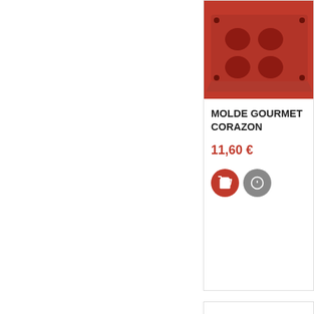[Figure (photo): Red silicone heart-shaped mold (MOLDE GOURMET CORAZON), partially visible at top of card]
MOLDE GOURMET CORAZON
11,60 €
[Figure (photo): Second product image area (largely white/blank) for MOLDE MINI CORAZON DESMONTABLE]
MOLDE MINI CORAZON DESMONTABLE